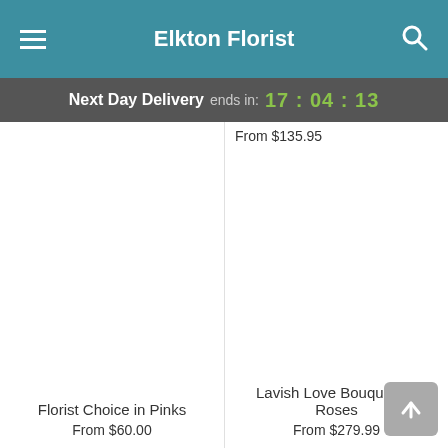Elkton Florist
Next Day Delivery ends in: 17 : 04 : 13
From $135.95
Florist Choice in Pinks
From $60.00
Lavish Love Bouquet 50 Roses
From $279.99